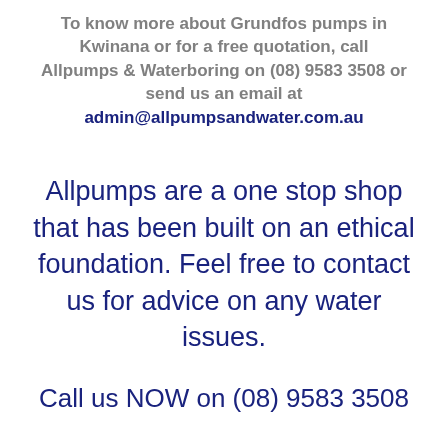To know more about Grundfos pumps in Kwinana or for a free quotation, call Allpumps & Waterboring on (08) 9583 3508 or send us an email at admin@allpumpsandwater.com.au
Allpumps are a one stop shop that has been built on an ethical foundation. Feel free to contact us for advice on any water issues.
Call us NOW on (08) 9583 3508